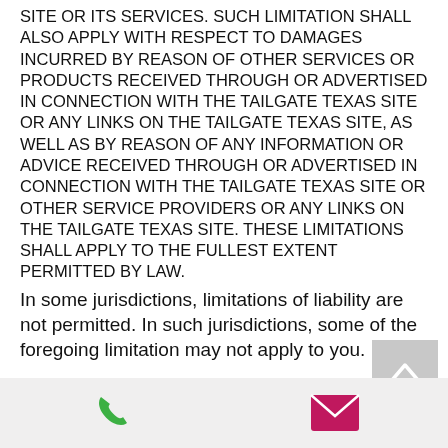SITE OR ITS SERVICES. SUCH LIMITATION SHALL ALSO APPLY WITH RESPECT TO DAMAGES INCURRED BY REASON OF OTHER SERVICES OR PRODUCTS RECEIVED THROUGH OR ADVERTISED IN CONNECTION WITH THE TAILGATE TEXAS SITE OR ANY LINKS ON THE TAILGATE TEXAS SITE, AS WELL AS BY REASON OF ANY INFORMATION OR ADVICE RECEIVED THROUGH OR ADVERTISED IN CONNECTION WITH THE TAILGATE TEXAS SITE OR OTHER SERVICE PROVIDERS OR ANY LINKS ON THE TAILGATE TEXAS SITE. THESE LIMITATIONS SHALL APPLY TO THE FULLEST EXTENT PERMITTED BY LAW. In some jurisdictions, limitations of liability are not permitted. In such jurisdictions, some of the foregoing limitation may not apply to you.
[Figure (other): Back to top arrow button (grey square with white upward chevron)]
[Figure (other): Footer bar with green phone icon on the left and pink/magenta email envelope icon on the right]